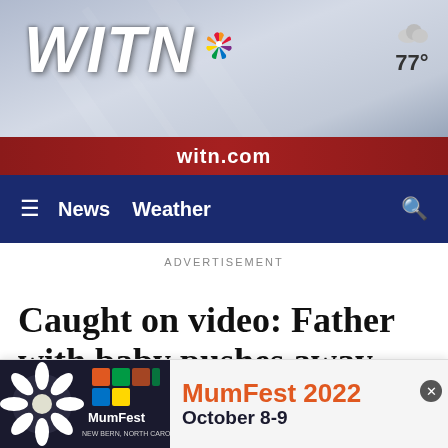[Figure (screenshot): WITN NBC affiliate TV station header banner with large italic white WITN logo and NBC peacock logo, dark red witn.com bar below, weather showing cloud icon and 77° in top right]
≡  News  Weather  🔍
ADVERTISEMENT
Caught on video: Father with baby pushes away man with gun
By WXYZ staff
[Figure (screenshot): MumFest 2022 advertisement banner at bottom of page showing MumFest logo on dark background on left and orange MumFest 2022 October 8-9 text on light gray background on right, with X close button]